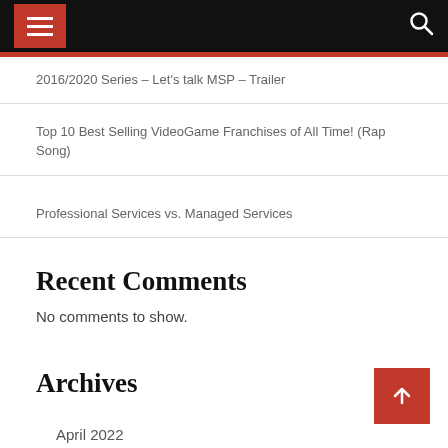Navigation header with menu and search
2016/2020 Series – Let's talk MSP – Trailer
Top 10 Best Selling VideoGame Franchises of All Time! (Rap Song)
Professional Services vs. Managed Services
Recent Comments
No comments to show.
Archives
April 2022